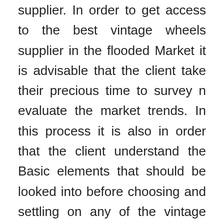supplier. In order to get access to the best vintage wheels supplier in the flooded Market it is advisable that the client take their precious time to survey n evaluate the market trends. In this process it is also in order that the client understand the Basic elements that should be looked into before choosing and settling on any of the vintage wheels supplier in the market. The Choice that one makes at this point should be critical in order to get a vintage wheels supplier that can help one realize their dreams in the line of their tastes and preferences. Patience is a key element during market evaluation since there are very many companies offering the same services therefore